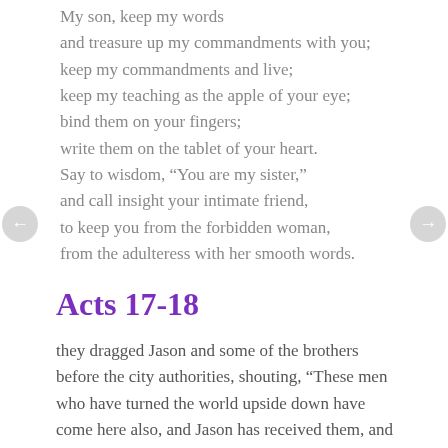My son, keep my words
and treasure up my commandments with you;
keep my commandments and live;
keep my teaching as the apple of your eye;
bind them on your fingers;
write them on the tablet of your heart.
Say to wisdom, “You are my sister,”
and call insight your intimate friend,
to keep you from the forbidden woman,
from the adulteress with her smooth words.
Acts 17-18
they dragged Jason and some of the brothers before the city authorities, shouting, “These men who have turned the world upside down have come here also, and Jason has received them, and they